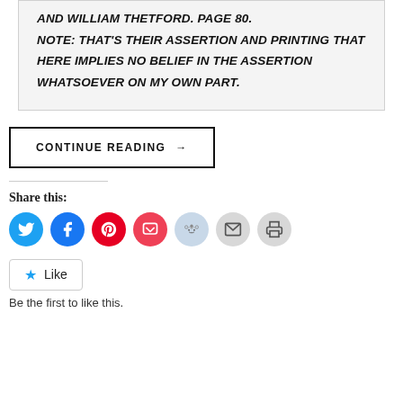AND WILLIAM THETFORD. PAGE 80. NOTE: THAT'S THEIR ASSERTION AND PRINTING THAT HERE IMPLIES NO BELIEF IN THE ASSERTION WHATSOEVER ON MY OWN PART.
CONTINUE READING →
Share this:
[Figure (infographic): Row of social share icon circles: Twitter (blue), Facebook (blue), Pinterest (red), Pocket (red/pink), Reddit (light blue), Email (light gray), Print (light gray)]
Like
Be the first to like this.